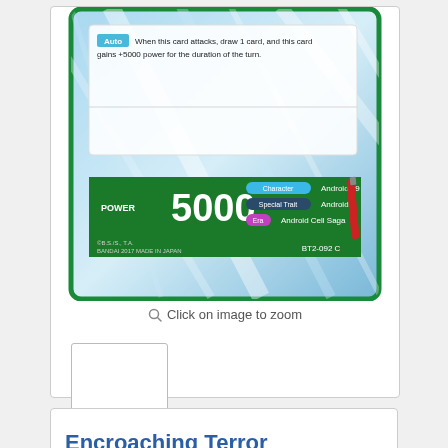[Figure (photo): Dragon Ball Super trading card: Encroaching Terror Android 19 [BT2-092]. Card shows Android 19 character with blue diagonal light streaks background. Auto ability text reads: When this card attacks, draw 1 card, and this card gains +5000 power for the duration of the turn. Power: 5000. Character: Android 19, Special Trait: Android, Era: Android Cell Saga. Card number BT2-092 C. Copyright BS/S, T.A. BANDAI 2017 MADE IN JAPAN.]
Click on image to zoom
[Figure (photo): Small thumbnail placeholder rectangle outline for the card, empty/white.]
Encroaching Terror Android 19 [BT2-092]